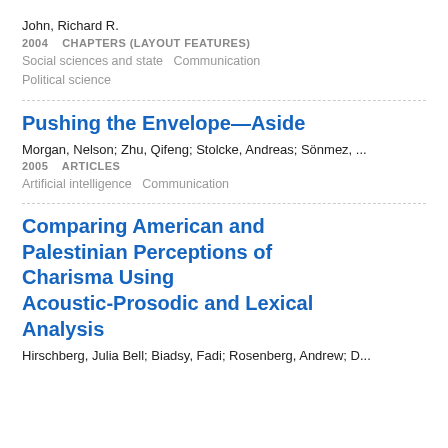John, Richard R.
2004    CHAPTERS (LAYOUT FEATURES)
Social sciences and state    Communication
Political science
Pushing the Envelope—Aside
Morgan, Nelson; Zhu, Qifeng; Stolcke, Andreas; Sönmez, ...
2005    ARTICLES
Artificial intelligence    Communication
Comparing American and Palestinian Perceptions of Charisma Using Acoustic-Prosodic and Lexical Analysis
Hirschberg, Julia Bell; Biadsy, Fadi; Rosenberg, Andrew; D...